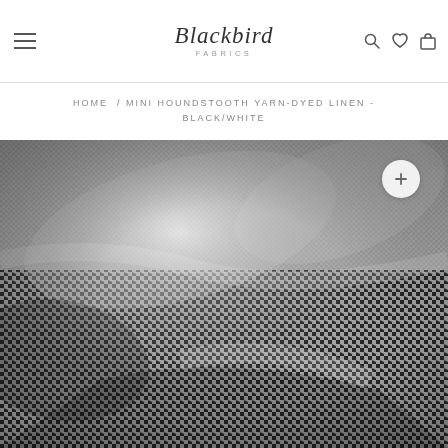Blackbird Fabrics
HOME / MINI HOUNDSTOOTH YARN-DYED LINEN - BLACK/WHITE
[Figure (photo): Close-up photograph of mini houndstooth yarn-dyed linen fabric in black and white pattern, showing draped fabric with visible texture and pattern detail]